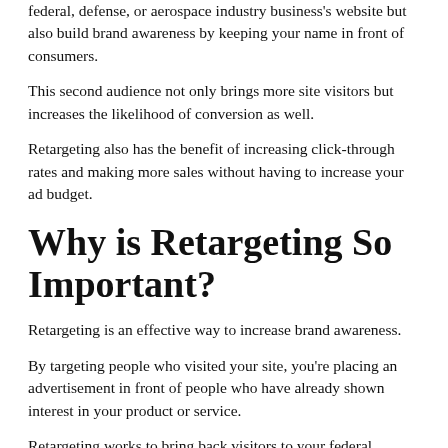Retargeting campaigns not only bring website visitors back to your federal, defense, or aerospace industry business's website but also build brand awareness by keeping your name in front of consumers.
This second audience not only brings more site visitors but increases the likelihood of conversion as well.
Retargeting also has the benefit of increasing click-through rates and making more sales without having to increase your ad budget.
Why is Retargeting So Important?
Retargeting is an effective way to increase brand awareness.
By targeting people who visited your site, you're placing an advertisement in front of people who have already shown interest in your product or service.
Retargeting works to bring back visitors to your federal, defense, or aerospace industry that haven't converted on their initial visit—increasing conversion rates and bringing more site visitors.